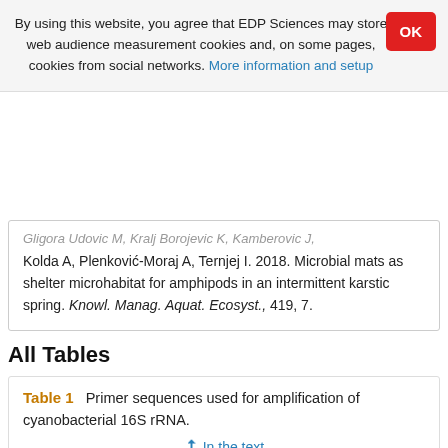By using this website, you agree that EDP Sciences may store web audience measurement cookies and, on some pages, cookies from social networks. More information and setup
Gligora Udovic M, Kralj Borojevic K, Kamberovic J, Kolda A, Plenkovic-Moraj A, Ternjej I. 2018. Microbial mats as shelter microhabitat for amphipods in an intermittent karstic spring. Knowl. Manag. Aquat. Ecosyst., 419, 7.
All Tables
Table 1   Primer sequences used for amplification of cyanobacterial 16S rRNA.
↑ In the text